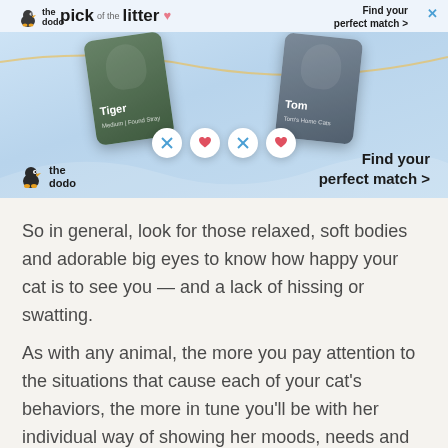[Figure (advertisement): The Dodo 'pick of the litter' pet adoption advertisement showing two phone cards with pet profiles labeled 'Tiger' and 'Tom', action buttons (X and heart), and text 'Find your perfect match >']
So in general, look for those relaxed, soft bodies and adorable big eyes to know how happy your cat is to see you — and a lack of hissing or swatting.
As with any animal, the more you pay attention to the situations that cause each of your cat's behaviors, the more in tune you'll be with her individual way of showing her moods, needs and